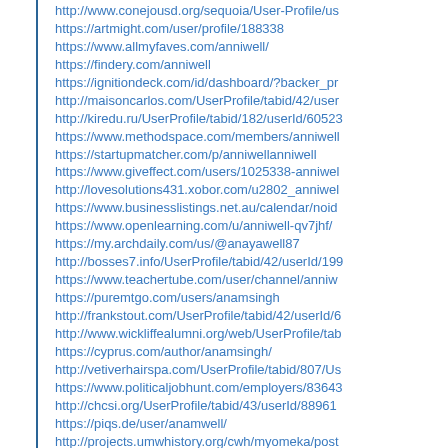http://www.conejousd.org/sequoia/User-Profile/us
https://artmight.com/user/profile/188338
https://www.allmyfaves.com/anniwell/
https://findery.com/anniwell
https://ignitiondeck.com/id/dashboard/?backer_pr
http://maisoncarlos.com/UserProfile/tabid/42/user
http://kiredu.ru/UserProfile/tabid/182/userId/60523
https://www.methodspace.com/members/anniwell
https://startupmatcher.com/p/anniwellanniwell
https://www.giveffect.com/users/1025338-anniwel
http://lovesolutions431.xobor.com/u2802_anniwel
https://www.businesslistings.net.au/calendar/noid
https://www.openlearning.com/u/anniwell-qv7jhf/
https://my.archdaily.com/us/@anayawell87
http://bosses7.info/UserProfile/tabid/42/userId/199
https://www.teachertube.com/user/channel/anniw
https://puremtgo.com/users/anamsingh
http://frankstout.com/UserProfile/tabid/42/userId/6
http://www.wickliffealumni.org/web/UserProfile/tab
https://cyprus.com/author/anamsingh/
http://vetiverhairspa.com/UserProfile/tabid/807/Us
https://www.politicaljobhunt.com/employers/83643
http://chcsi.org/UserProfile/tabid/43/userId/88961
https://piqs.de/user/anamwell/
http://projects.umwhistory.org/cwh/myomeka/post